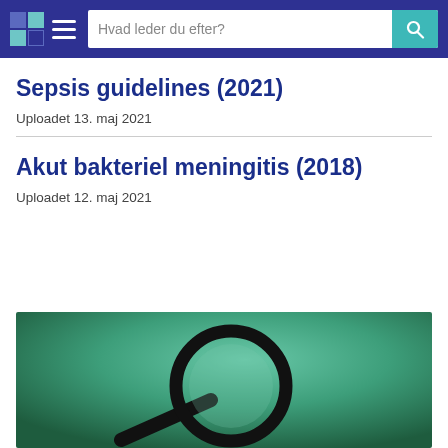Hvad leder du efter?
Sepsis guidelines (2021)
Uploadet 13. maj 2021
Akut bakteriel meningitis (2018)
Uploadet 12. maj 2021
[Figure (photo): Photo of a magnifying glass on a green background, partially visible at the bottom of the page]